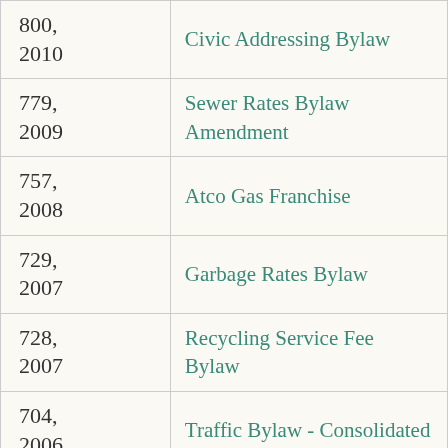| Number | Name |
| --- | --- |
| 800, 2010 | Civic Addressing Bylaw |
| 779, 2009 | Sewer Rates Bylaw Amendment |
| 757, 2008 | Atco Gas Franchise |
| 729, 2007 | Garbage Rates Bylaw |
| 728, 2007 | Recycling Service Fee Bylaw |
| 704, 2006 | Traffic Bylaw - Consolidated |
| 622, 2004 | Lawn and Garden Watering |
| 561, 2001 | Sewer System and Rates |